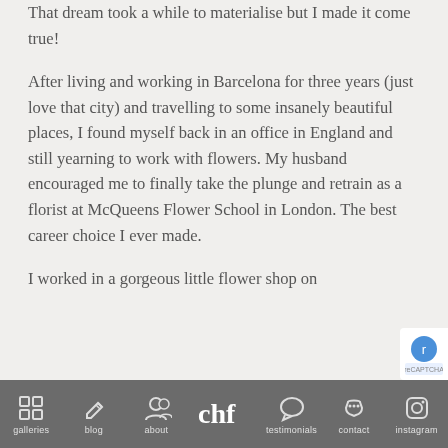That dream took a while to materialise but I made it come true!
After living and working in Barcelona for three years (just love that city) and travelling to some insanely beautiful places, I found myself back in an office in England and still yearning to work with flowers. My husband encouraged me to finally take the plunge and retrain as a florist at McQueens Flower School in London. The best career choice I ever made.
I worked in a gorgeous little flower shop on
galleries  blog  about  [logo]  testimonials  contact  instagram